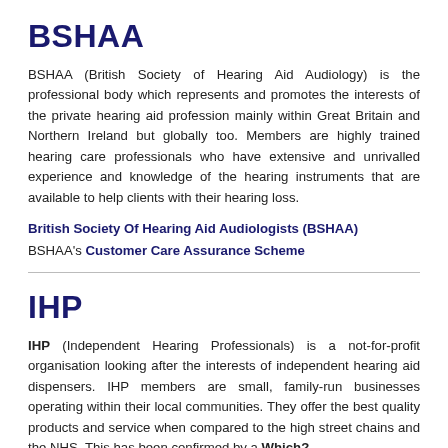BSHAA
BSHAA (British Society of Hearing Aid Audiology) is the professional body which represents and promotes the interests of the private hearing aid profession mainly within Great Britain and Northern Ireland but globally too. Members are highly trained hearing care professionals who have extensive and unrivalled experience and knowledge of the hearing instruments that are available to help clients with their hearing loss.
British Society Of Hearing Aid Audiologists (BSHAA)
BSHAA's Customer Care Assurance Scheme
IHP
IHP (Independent Hearing Professionals) is a not-for-profit organisation looking after the interests of independent hearing aid dispensers. IHP members are small, family-run businesses operating within their local communities. They offer the best quality products and service when compared to the high street chains and the NHS. This has been confirmed by a Which?